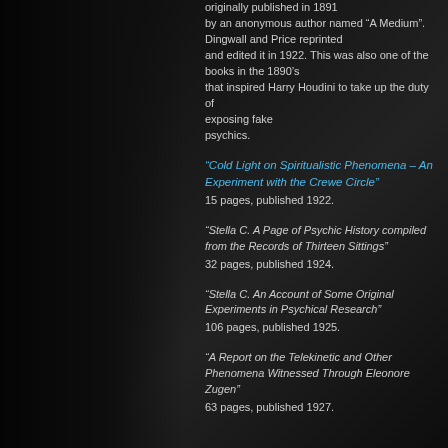originally published in 1891 by an anonymous author named “A Medium”. Dingwall and Price reprinted and edited it in 1922. This was also one of the books in the 1890’s that inspired Harry Houdini to take up the duty of exposing fake psychics.
“Cold Light on Spiritualistic Phenomena – An Experiment with the Crewe Circle” 15 pages, published 1922.
“Stella C. A Page of Psychic History compiled from the Records of Thirteen Sittings” 32 pages, published 1924.
“Stella C. An Account of Some Original Experiments in Psychical Research” 106 pages, published 1925.
“A Report on the Telekinetic and Other Phenomena Witnessed Through Eleonore Zugen” 63 pages, published 1927.